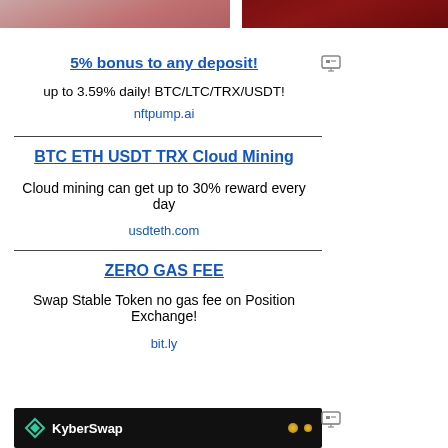[Figure (photo): Two cropped photos side by side at top of page]
[Figure (illustration): Small computer/ad icon]
5% bonus to any deposit!
up to 3.59% daily! BTC/LTC/TRX/USDT!
nftpump.ai
BTC ETH USDT TRX Cloud Mining
Cloud mining can get up to 30% reward every day
usdteth.com
ZERO GAS FEE
Swap Stable Token no gas fee on Position Exchange!
bit.ly
[Figure (screenshot): KyberSwap advertisement banner with dark background and logo]
[Figure (illustration): Small computer/ad icon for bottom ad]